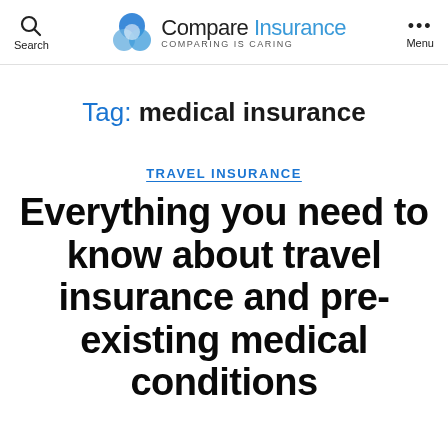Search | Compare Insurance — COMPARING IS CARING | Menu
Tag: medical insurance
TRAVEL INSURANCE
Everything you need to know about travel insurance and pre-existing medical conditions